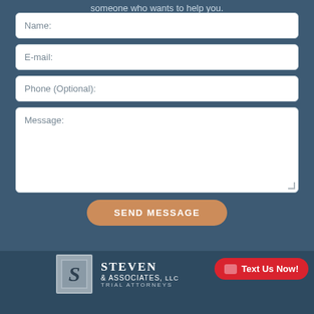someone who wants to help you.
Name:
E-mail:
Phone (Optional):
Message:
SEND MESSAGE
[Figure (logo): Stevens & Associates Trial Attorneys logo with stylized S letterform]
STEVEN & ASSOCIATES, Trial Attorneys
Text Us Now!